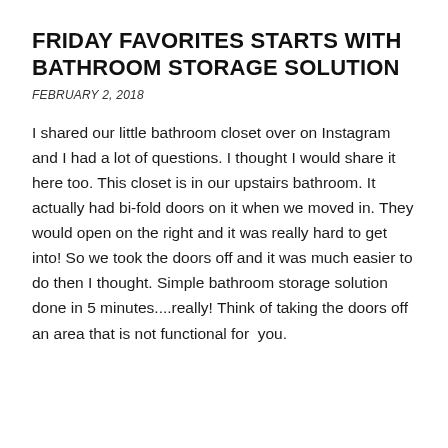FRIDAY FAVORITES STARTS WITH BATHROOM STORAGE SOLUTION
FEBRUARY 2, 2018
I shared our little bathroom closet over on Instagram and I had a lot of questions. I thought I would share it here too. This closet is in our upstairs bathroom. It actually had bi-fold doors on it when we moved in. They would open on the right and it was really hard to get into! So we took the doors off and it was much easier to do then I thought. Simple bathroom storage solution done in 5 minutes....really! Think of taking the doors off an area that is not functional for  you.